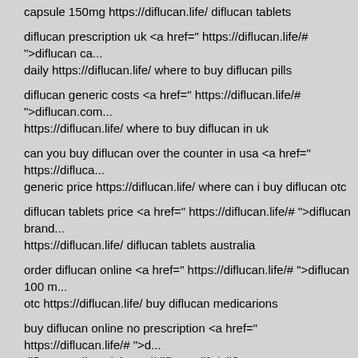capsule 150mg https://diflucan.life/ diflucan tablets
diflucan prescription uk <a href=" https://diflucan.life/# ">diflucan ca... daily https://diflucan.life/ where to buy diflucan pills
diflucan generic costs <a href=" https://diflucan.life/# ">diflucan.com... https://diflucan.life/ where to buy diflucan in uk
can you buy diflucan over the counter in usa <a href=" https://difluca... generic price https://diflucan.life/ where can i buy diflucan otc
diflucan tablets price <a href=" https://diflucan.life/# ">diflucan brand... https://diflucan.life/ diflucan tablets australia
order diflucan online <a href=" https://diflucan.life/# ">diflucan 100 m... otc https://diflucan.life/ buy diflucan medicarions
buy diflucan online no prescription <a href=" https://diflucan.life/# ">d... diflucan online uk https://diflucan.life/ diflucan 150
diflucan 150 mg price <a href=" https://diflucan.life/# ">where can yo... fluconazole diflucan https://diflucan.life/ diflucan 150 cost
diflucan oral <a href=" https://diflucan.life/# ">buy diflucan online usa... https://diflucan.life/ where can i get diflucan
best diflucan price <a href=" https://diflucan.life/# ">buy diflucan with...